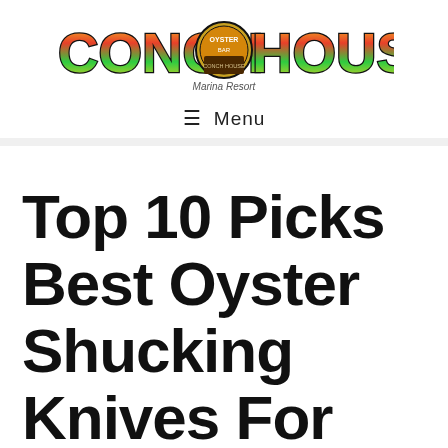[Figure (logo): Conch House Marina Resort logo with colorful gradient text and circular emblem in the center]
≡ Menu
Top 10 Picks Best Oyster Shucking Knives For 2022
by SuperSeven